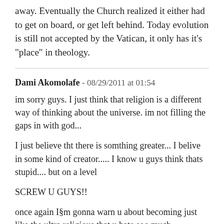away. Eventually the Church realized it either had to get on board, or get left behind. Today evolution is still not accepted by the Vatican, it only has it's "place" in theology.
Dami Akomolafe - 08/29/2011 at 01:54
im sorry guys. I just think that religion is a different way of thinking about the universe. im not filling the gaps in with god...
I just believe tht there is somthing greater... I belive in some kind of creator..... I know u guys think thats stupid.... but on a level
SCREW U GUYS!!
once again I§m gonna warn u about becoming just like the ultra religious that u hate soo much.